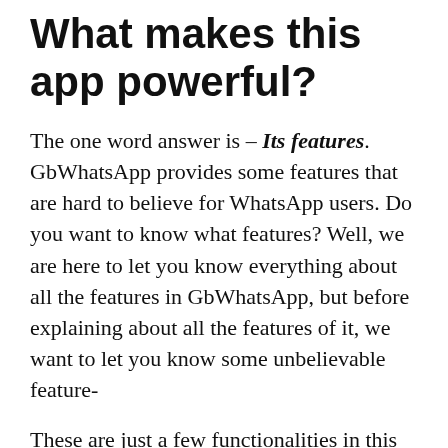What makes this app powerful?
The one word answer is – Its features. GbWhatsApp provides some features that are hard to believe for WhatsApp users. Do you want to know what features? Well, we are here to let you know everything about all the features in GbWhatsApp, but before explaining about all the features of it, we want to let you know some unbelievable feature-
These are just a few functionalities in this app that makes this app much-much